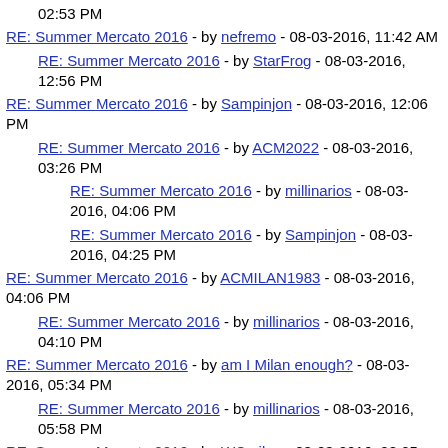02:53 PM
RE: Summer Mercato 2016 - by nefremo - 08-03-2016, 11:42 AM
RE: Summer Mercato 2016 - by StarFrog - 08-03-2016, 12:56 PM
RE: Summer Mercato 2016 - by Sampinjon - 08-03-2016, 12:06 PM
RE: Summer Mercato 2016 - by ACM2022 - 08-03-2016, 03:26 PM
RE: Summer Mercato 2016 - by millinarios - 08-03-2016, 04:06 PM
RE: Summer Mercato 2016 - by Sampinjon - 08-03-2016, 04:25 PM
RE: Summer Mercato 2016 - by ACMILAN1983 - 08-03-2016, 04:06 PM
RE: Summer Mercato 2016 - by millinarios - 08-03-2016, 04:10 PM
RE: Summer Mercato 2016 - by am I Milan enough? - 08-03-2016, 05:34 PM
RE: Summer Mercato 2016 - by millinarios - 08-03-2016, 05:58 PM
RE: Summer Mercato 2016 - by WCmilan - 08-03-2016, 08:05 PM
RE: Summer Mercato 2016 - by nefremo - 08-03-2016, 08:31 PM